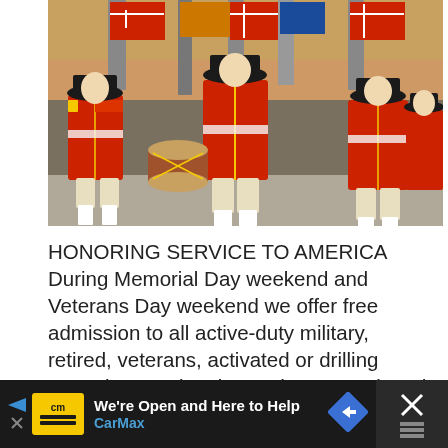[Figure (photo): Revolutionary War-era costumed marching band members in red coats, tricorn hats, and white breeches, playing drums and marching with American flags and other flags in a parade, with crowd in background.]
HONORING SERVICE TO AMERICA During Memorial Day weekend and Veterans Day weekend we offer free admission to all active-duty military, retired, veterans, activated or drilling reservists, National Guard personnel, and up to three direct dependents. Active-duty, activated or drilling reservists, and National Guard personnel, please select one
[Figure (infographic): CarMax advertisement banner: 'We're Open and Here to Help' with CarMax logo in yellow box, blue navigation arrow icon, and close/dismiss button on right side.]